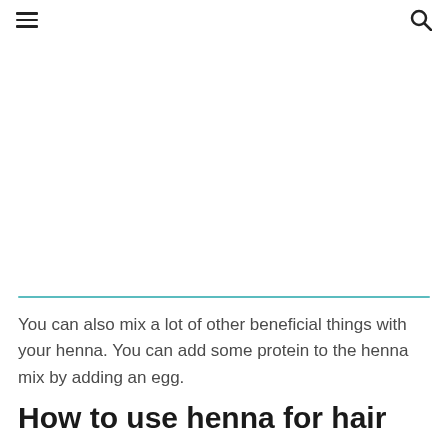☰  🔍
You can also mix a lot of other beneficial things with your henna. You can add some protein to the henna mix by adding an egg.
How to use henna for hair